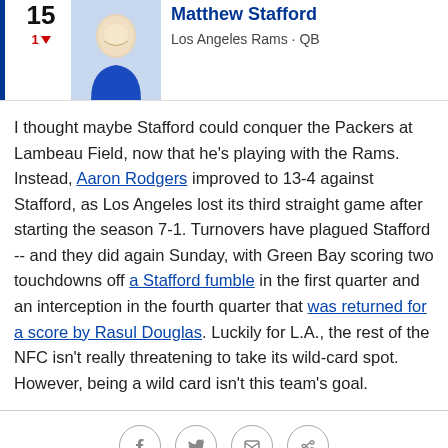Matthew Stafford — Los Angeles Rams · QB — Rank 15, down 1
I thought maybe Stafford could conquer the Packers at Lambeau Field, now that he's playing with the Rams. Instead, Aaron Rodgers improved to 13-4 against Stafford, as Los Angeles lost its third straight game after starting the season 7-1. Turnovers have plagued Stafford -- and they did again Sunday, with Green Bay scoring two touchdowns off a Stafford fumble in the first quarter and an interception in the fourth quarter that was returned for a score by Rasul Douglas. Luckily for L.A., the rest of the NFC isn't really threatening to take its wild-card spot. However, being a wild card isn't this team's goal.